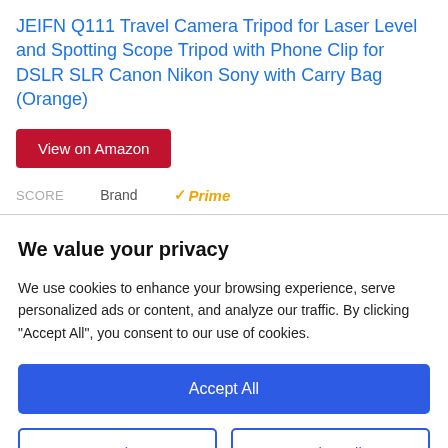JEIFN Q111 Travel Camera Tripod for Laser Level and Spotting Scope Tripod with Phone Clip for DSLR SLR Canon Nikon Sony with Carry Bag (Orange)
View on Amazon
SCORE   Brand   ✓Prime
We value your privacy
We use cookies to enhance your browsing experience, serve personalized ads or content, and analyze our traffic. By clicking "Accept All", you consent to our use of cookies.
Accept All
Customize
Reject All